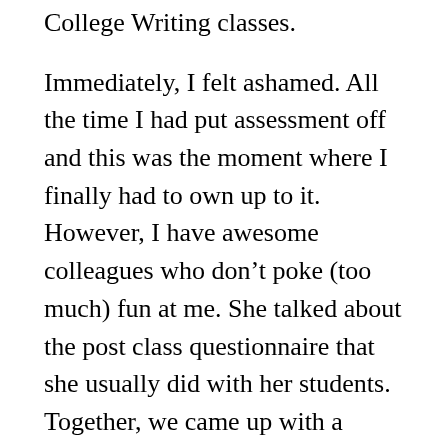College Writing classes.
Immediately, I felt ashamed. All the time I had put assessment off and this was the moment where I finally had to own up to it. However, I have awesome colleagues who don’t poke (too much) fun at me. She talked about the post class questionnaire that she usually did with her students. Together, we came up with a couple of questions for the students in the STEP class. It was not a long process whatsoever, but I came to see that there is actually nothing scary about it, like I had thought.
There are many different types of assessment,